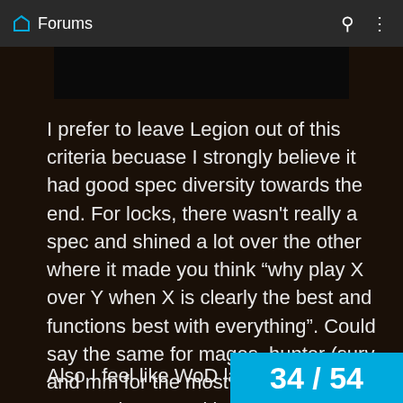Forums
[Figure (other): Dark/black image placeholder]
I prefer to leave Legion out of this criteria becuase I strongly believe it had good spec diversity towards the end. For locks, there wasn't really a spec and shined a lot over the other where it made you think "why play X over Y when X is clearly the best and functions best with everything". Could say the same for mages, hunter (surv and mm for the most part were extremely competitive w/ each other w/ some comps), and a few other classes. Enh sham, for ex, had some good variety of comps which you normally wouldn't have seen in other xpacs.
Also I feel like WoD lacked in this a
34 / 54